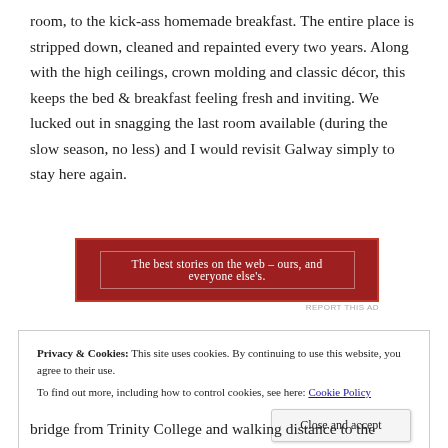room, to the kick-ass homemade breakfast. The entire place is stripped down, cleaned and repainted every two years. Along with the high ceilings, crown molding and classic décor, this keeps the bed & breakfast feeling fresh and inviting. We lucked out in snagging the last room available (during the slow season, no less) and I would revisit Galway simply to stay here again.
[Figure (other): Red advertisement banner with white text reading: The best stories on the web – ours, and everyone else's.]
REPORT THIS AD
Privacy & Cookies: This site uses cookies. By continuing to use this website, you agree to their use.
To find out more, including how to control cookies, see here: Cookie Policy
Close and accept
bridge from Trinity College and walking distance to the